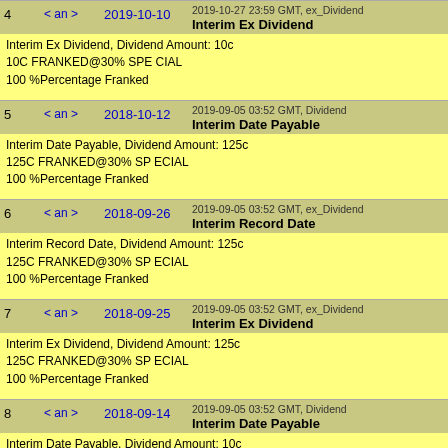| # | nav | date | info |
| --- | --- | --- | --- |
| 4 | < an > | 2019-10-10 | 2019-10-27 23:59 GMT, ex_Dividend
Interim Ex Dividend |
|  |  |  | Interim Ex Dividend, Dividend Amount: 10c
10C FRANKED@30% SPE CIAL
100 %Percentage Franked |
| 5 | < an > | 2018-10-12 | 2019-09-05 03:52 GMT, Dividend
Interim Date Payable |
|  |  |  | Interim Date Payable, Dividend Amount: 125c
125C FRANKED@30% SP ECIAL
100 %Percentage Franked |
| 6 | < an > | 2018-09-26 | 2019-09-05 03:52 GMT, ex_Dividend
Interim Record Date |
|  |  |  | Interim Record Date, Dividend Amount: 125c
125C FRANKED@30% SP ECIAL
100 %Percentage Franked |
| 7 | < an > | 2018-09-25 | 2019-09-05 03:52 GMT, ex_Dividend
Interim Ex Dividend |
|  |  |  | Interim Ex Dividend, Dividend Amount: 125c
125C FRANKED@30% SP ECIAL
100 %Percentage Franked |
| 8 | < an > | 2018-09-14 | 2019-09-05 03:52 GMT, Dividend
Interim Date Payable |
|  |  |  | Interim Date Payable, Dividend Amount: 10c
10C FRANKED @30% SP ECIAL
100 %Percentage Franked |
| 9 | < an > | 2018-08-31 | 2019-09-05 03:52 GMT, ex_Dividend
Interim Record Date |
|  |  |  | Interim Record Date, Dividend Amount: 10c
10C FRANKED @30% SP ECIAL
100 %Percentage Franked |